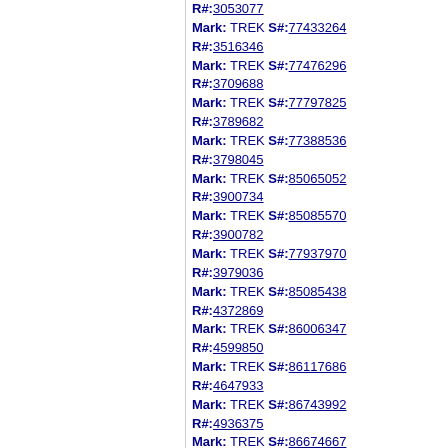R#:3053077
Mark: TREK S#:77433264 R#:3516346
Mark: TREK S#:77476296 R#:3709688
Mark: TREK S#:77797825 R#:3789682
Mark: TREK S#:77388536 R#:3798045
Mark: TREK S#:85065052 R#:3900734
Mark: TREK S#:85085570 R#:3900782
Mark: TREK S#:77937970 R#:3979036
Mark: TREK S#:85085438 R#:4372869
Mark: TREK S#:86006347 R#:4599850
Mark: TREK S#:86117686 R#:4647933
Mark: TREK S#:86743992 R#:4936375
Mark: TREK S#:86674667 R#:5004800
Mark: TREK S#:87888482 R#:5731440
Mark: TREK S#:87565645 R#:6036046
Mark: TREK S#:88343024